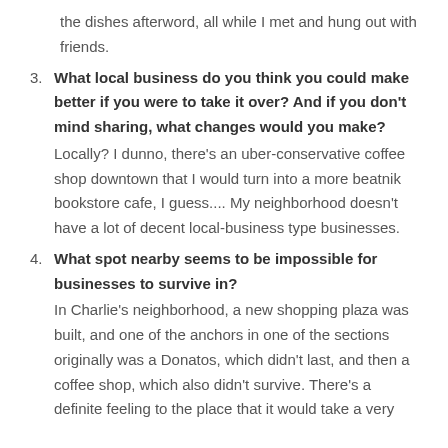the dishes afterword, all while I met and hung out with friends.
3. What local business do you think you could make better if you were to take it over? And if you don't mind sharing, what changes would you make? Locally? I dunno, there's an uber-conservative coffee shop downtown that I would turn into a more beatnik bookstore cafe, I guess.... My neighborhood doesn't have a lot of decent local-business type businesses.
4. What spot nearby seems to be impossible for businesses to survive in? In Charlie's neighborhood, a new shopping plaza was built, and one of the anchors in one of the sections originally was a Donatos, which didn't last, and then a coffee shop, which also didn't survive. There's a definite feeling to the place that it would take a very